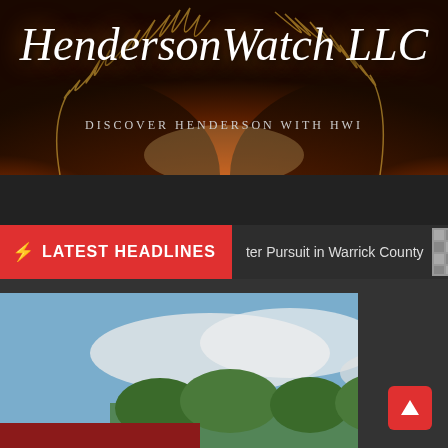HendersonWatch LLC
DISCOVER HENDERSON WITH HWI
LATEST HEADLINES
ter Pursuit in Warrick County
Wa
[Figure (photo): Fire trucks and emergency vehicles on a road, with an ambulance visible in the background between two red fire engines on a two-lane road with yellow center lines.]